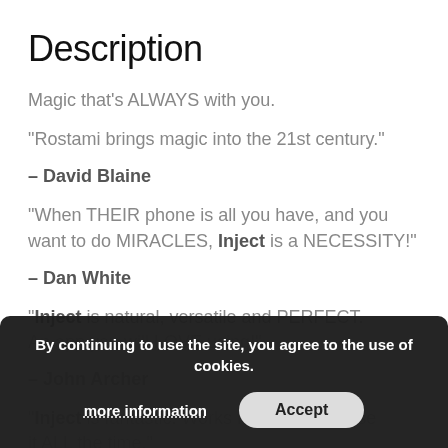Description
Magic that's ALWAYS with you.
“Rostami brings magic into the 21st century.”
– David Blaine
“When THEIR phone is all you have, and you want to do MIRACLES, Inject is a NECESSITY!”
– Dan White
“Inject is natural, versatile and PERFECT. An app you will LOVE using!”
– John Archer
“Inject is fantastic. Works flawlessly… I use it ALL the time.”
By continuing to use the site, you agree to the use of cookies.
more information
Accept